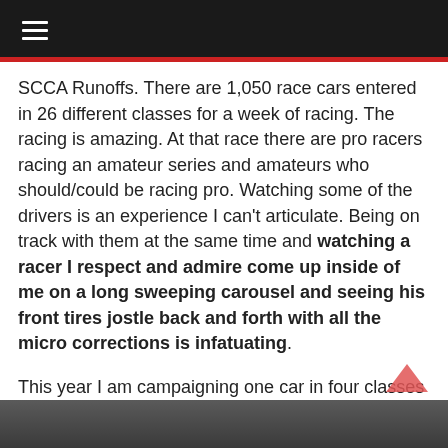☰
SCCA Runoffs. There are 1,050 race cars entered in 26 different classes for a week of racing. The racing is amazing. At that race there are pro racers racing an amateur series and amateurs who should/could be racing pro. Watching some of the drivers is an experience I can't articulate. Being on track with them at the same time and watching a racer I respect and admire come up inside of me on a long sweeping carousel and seeing his front tires jostle back and forth with all the micro corrections is infatuating.
This year I am campaigning one car in four classes at three series, SCCA GT2, NASA ST2/TT2 and Trans Am TA3.
[Figure (photo): Partial photo strip visible at bottom of page]